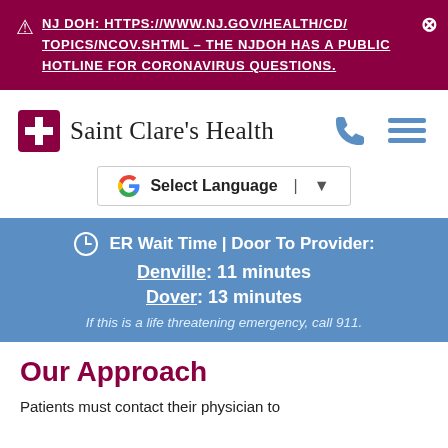⚠ NJ DOH: HTTPS://WWW.NJ.GOV/HEALTH/CD/TOPICS/NCOV.SHTML – THE NJDOH HAS A PUBLIC HOTLINE FOR CORONAVIRUS QUESTIONS.
[Figure (logo): Saint Clare's Health logo with red cross icon and text 'Saint Clare's Health', phone icon and hamburger menu icon on the right]
Select Language ▼
ER Wait Time | Door To Provider: Denville: 11 minutes Dover: 13 minutes If this is a life threatening emergency, call 911.
Our Approach
Patients must contact their physician to